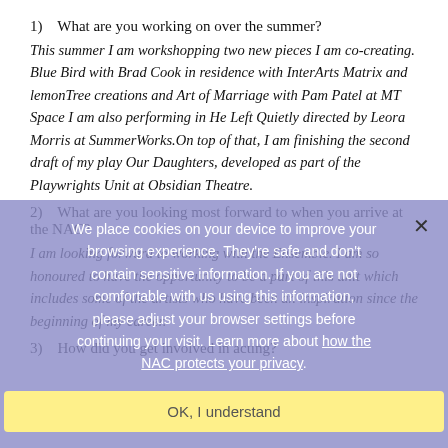1)	What are you working on over the summer?
This summer I am workshopping two new pieces I am co-creating. Blue Bird with Brad Cook in residence with InterArts Matrix and lemonTree creations and Art of Marriage with Pam Patel at MT Space I am also performing in He Left Quietly directed by Leora Morris at SummerWorks.On top of that, I am finishing the second draft of my play Our Daughters, developed as part of the Playwrights Unit at Obsidian Theatre.
2)	What are you looking most forward to when you arrive at the NAC?
I am looking forward to working with the Ensemble. I am so honoured to have the opportunity to be a part of this unit which includes some of the artists who have been an inspiration since the beginning of my career.
3)	How did you get involved in acting?
We place cookies on your device to improve your browsing experience. They're safe and don't contain sensitive information. If you are not comfortable with us using this information, please adjust your browser settings before continuing your visit. Learn more about how the NAC protects your privacy.
OK, I understand